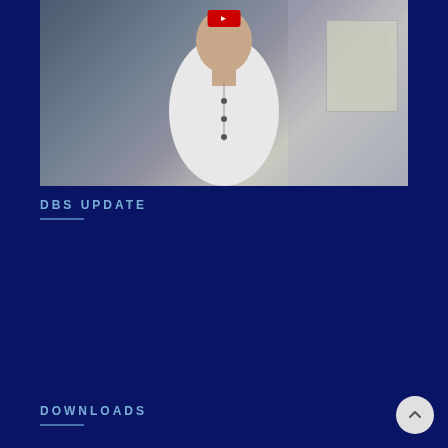[Figure (photo): A man in a white shirt sitting at a desk in what appears to be a financial trading or office environment, with a red YouTube play button overlay at the top]
DBS UPDATE
DOWNLOADS